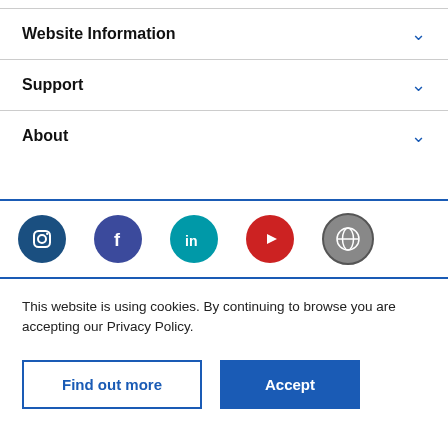Website Information
Support
About
[Figure (illustration): Row of social media icons: Instagram (dark blue), Facebook (dark blue/purple), LinkedIn (teal), YouTube (red), and a globe/website icon (gray/green).]
This website is using cookies. By continuing to browse you are accepting our Privacy Policy.
Find out more
Accept